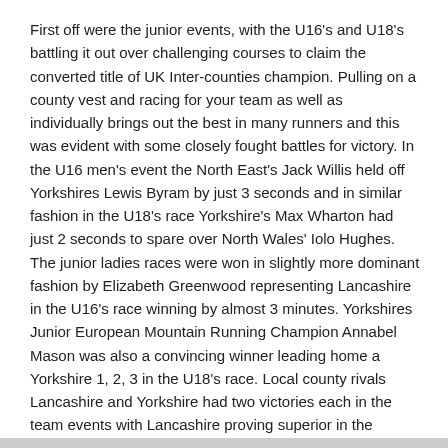First off were the junior events, with the U16's and U18's battling it out over challenging courses to claim the converted title of UK Inter-counties champion. Pulling on a county vest and racing for your team as well as individually brings out the best in many runners and this was evident with some closely fought battles for victory. In the U16 men's event the North East's Jack Willis held off Yorkshires Lewis Byram by just 3 seconds and in similar fashion in the U18's race Yorkshire's Max Wharton had just 2 seconds to spare over North Wales' Iolo Hughes. The junior ladies races were won in slightly more dominant fashion by Elizabeth Greenwood representing Lancashire in the U16's race winning by almost 3 minutes. Yorkshires Junior European Mountain Running Champion Annabel Mason was also a convincing winner leading home a Yorkshire 1, 2, 3 in the U18's race. Local county rivals Lancashire and Yorkshire had two victories each in the team events with Lancashire proving superior in the younger age groups whilst Yorkshire lead the way in the older age group. This left it for the seniors to determine which county would emerge victorious overall.